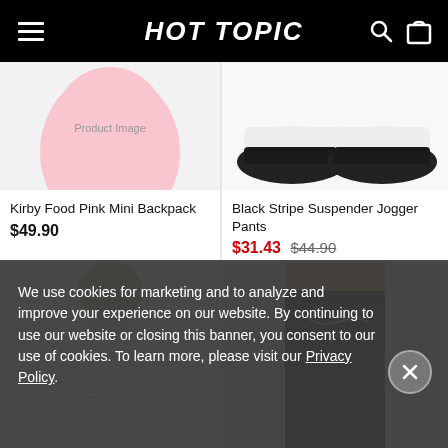HOT TOPIC
Kirby Food Pink Mini Backpack
$49.90
Black Stripe Suspender Jogger Pants
$31.43 $44.90
Today Only - 30% Off
[Figure (photo): Top portion of pink Kirby backpack product photo on white background]
[Figure (photo): Black platform shoes product photo on white background]
[Figure (photo): Hello Kitty and Pusheen rainbow hoodie sweatshirt on model]
[Figure (photo): Black pinstripe wide-leg pants with chain on model]
We use cookies for marketing and to analyze and improve your experience on our website. By continuing to use our website or closing this banner, you consent to our use of cookies. To learn more, please visit our Privacy Policy.